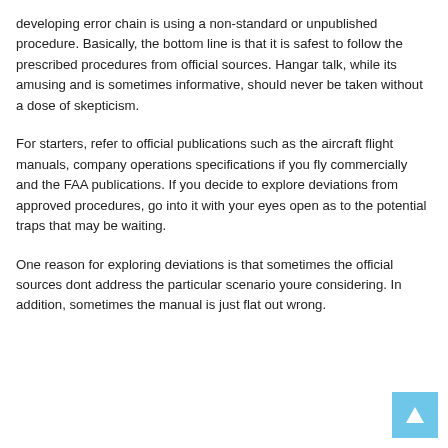developing error chain is using a non-standard or unpublished procedure. Basically, the bottom line is that it is safest to follow the prescribed procedures from official sources. Hangar talk, while its amusing and is sometimes informative, should never be taken without a dose of skepticism.
For starters, refer to official publications such as the aircraft flight manuals, company operations specifications if you fly commercially and the FAA publications. If you decide to explore deviations from approved procedures, go into it with your eyes open as to the potential traps that may be waiting.
One reason for exploring deviations is that sometimes the official sources dont address the particular scenario youre considering. In addition, sometimes the manual is just flat out wrong.